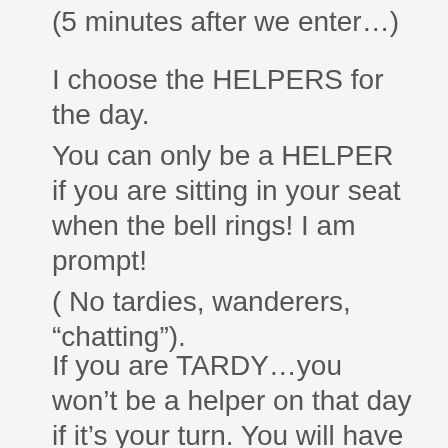(5 minutes after we enter…)
I choose the HELPERS for the day.
You can only be a HELPER if you are sitting in your seat when the bell rings! I am prompt!
( No tardies, wanderers, “hatting”).
If you are TARDY…you won’t be a helper on that day if it’s your turn. You will have to wait